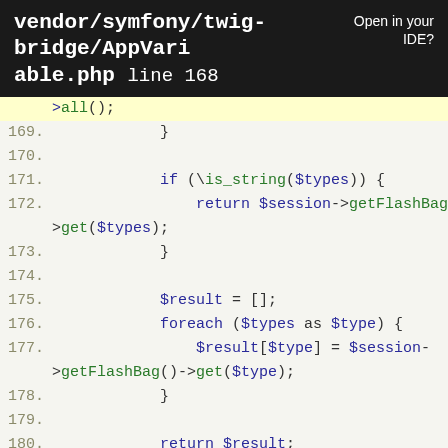vendor/symfony/twig-bridge/AppVariable.php line 168  Open in your IDE?
[Figure (screenshot): PHP source code showing lines 168-183 of vendor/symfony/twig-bridge/AppVariable.php with syntax highlighting. Line 168 is highlighted in yellow showing >all(); and subsequent lines show if/foreach/return logic.]